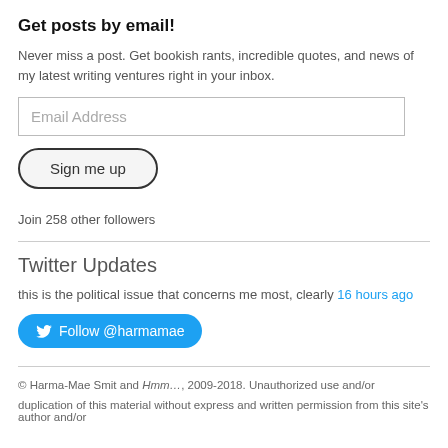Get posts by email!
Never miss a post. Get bookish rants, incredible quotes, and news of my latest writing ventures right in your inbox.
Email Address
Sign me up
Join 258 other followers
Twitter Updates
this is the political issue that concerns me most, clearly 16 hours ago
Follow @harmamae
© Harma-Mae Smit and Hmm…, 2009-2018. Unauthorized use and/or duplication of this material without express and written permission from this site's author and/or owner is strictly prohibited. Excerpts and links may be used, provided that full and clear credit is given to Harma-Mae Smit and Hmm… with appropriate and specific direction to the original content.